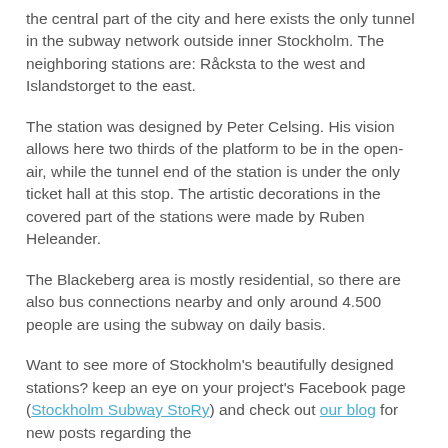the central part of the city and here exists the only tunnel in the subway network outside inner Stockholm. The neighboring stations are: Råcksta to the west and Islandstorget to the east.
The station was designed by Peter Celsing. His vision allows here two thirds of the platform to be in the open-air, while the tunnel end of the station is under the only ticket hall at this stop. The artistic decorations in the covered part of the stations were made by Ruben Heleander.
The Blackeberg area is mostly residential, so there are also bus connections nearby and only around 4.500 people are using the subway on daily basis.
Want to see more of Stockholm's beautifully designed stations? keep an eye on your project's Facebook page (Stockholm Subway StoRy) and check out our blog for new posts regarding the